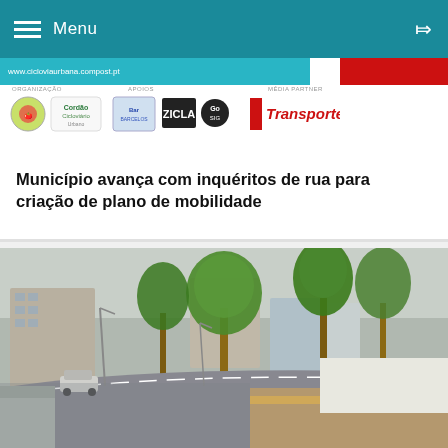Menu
[Figure (screenshot): Logos strip showing organization sponsors: Cordão Cicloviário, Barcelos, ZICLA, Go SIGe, and Transporte media partner logos, over a cyan and red bar.]
Município avança com inquéritos de rua para criação de plano de mobilidade
[Figure (photo): Street scene showing an urban road under construction with tall green trees, buildings visible in the background, and exposed earth/construction materials on the right side.]